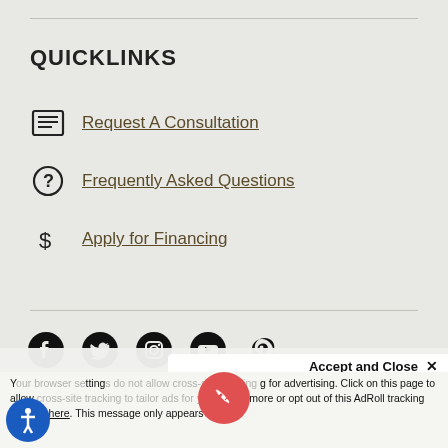QUICKLINKS
Request A Consultation
Frequently Asked Questions
Apply for Financing
[Figure (infographic): Social media icons: Facebook, Twitter, Instagram, YouTube, Pinterest]
HOW CAN WE HELP?
Your browser settings do not allow cross-site tracking for advertising. Click on this page to allow cross-site tracking to tailor ads for you. Learn more or opt out of this AdRoll tracking by clicking here. This message only appears once.